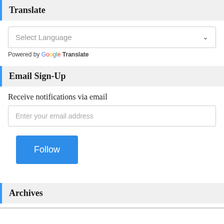Translate
Select Language
Powered by Google Translate
Email Sign-Up
Receive notifications via email
Enter your email address
Follow
Archives